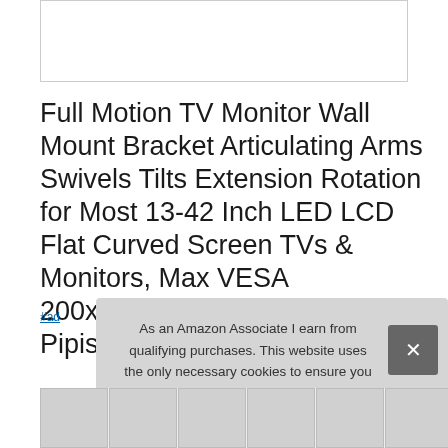[Figure (photo): Product image box — white rectangle with border, partially visible product image at top]
Full Motion TV Monitor Wall Mount Bracket Articulating Arms Swivels Tilts Extension Rotation for Most 13-42 Inch LED LCD Flat Curved Screen TVs & Monitors, Max VESA 200x200mm up to 44lbs by Pipishell
#ad
As an Amazon Associate I earn from qualifying purchases. This website uses the only necessary cookies to ensure you get the best experience on our website. More information
[Figure (photo): Thumbnail strip of product images at bottom of page]